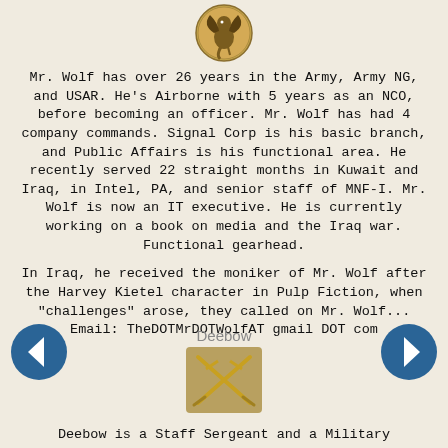[Figure (logo): Golden griffin emblem/crest in a circular seal at the top center of the page]
Mr. Wolf has over 26 years in the Army, Army NG, and USAR. He's Airborne with 5 years as an NCO, before becoming an officer. Mr. Wolf has had 4 company commands. Signal Corp is his basic branch, and Public Affairs is his functional area. He recently served 22 straight months in Kuwait and Iraq, in Intel, PA, and senior staff of MNF-I. Mr. Wolf is now an IT executive. He is currently working on a book on media and the Iraq war. Functional gearhead.
In Iraq, he received the moniker of Mr. Wolf after the Harvey Kietel character in Pulp Fiction, when "challenges" arose, they called on Mr. Wolf...
Email: TheDOTMrDOTWolfAT gmail DOT com
Deebow
[Figure (logo): Crossed cavalry sabers military insignia badge in gold on tan background]
Deebow is a Staff Sergeant and a Military